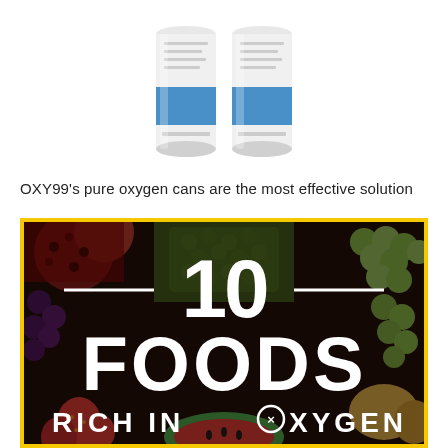[Figure (photo): Two white cylindrical cans with blue labels - OXY99 pure oxygen cans]
OXY99’s pure oxygen cans are the most effective solution
[Figure (infographic): Colorful fruit background (pomegranate, pineapple, grapes, strawberries, watermelon) with dark overlay and large white text reading '— 10 — FOODS RICH IN OXYGEN' inside a yellow border]